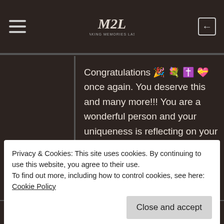MML blog navigation header with hamburger menu, logo, and login icon
Congratulations 🎉 💐 ✝️ 💝 once again. You deserve this and many more!!! You are a wonderful person and your uniqueness is reflecting on your blog and the lives of your readers!😀❤
★ Liked by 2 people
Privacy & Cookies: This site uses cookies. By continuing to use this website, you agree to their use. To find out more, including how to control cookies, see here: Cookie Policy
Close and accept
★ Liked by 1 person